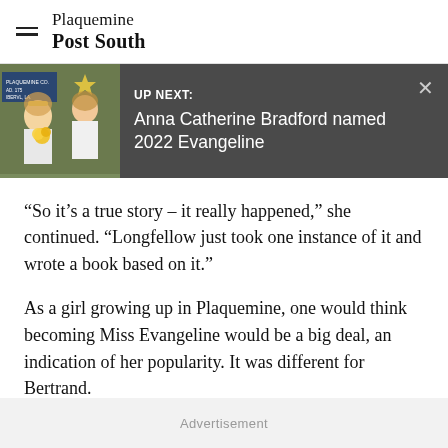Plaquemine Post South
[Figure (screenshot): UP NEXT banner with thumbnail photo of a woman being crowned, and text: UP NEXT: Anna Catherine Bradford named 2022 Evangeline]
“So it’s a true story – it really happened,” she continued. “Longfellow just took one instance of it and wrote a book based on it.”
As a girl growing up in Plaquemine, one would think becoming Miss Evangeline would be a big deal, an indication of her popularity. It was different for Bertrand.
Advertisement